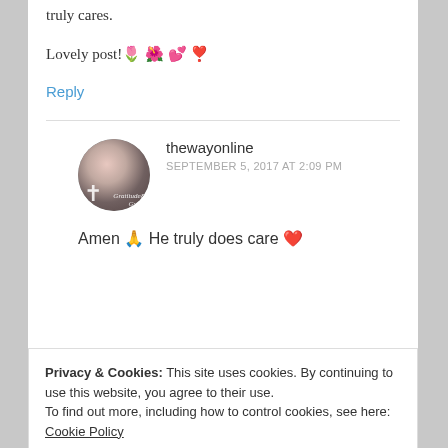truly cares.
Lovely post! 🌷 🌺 💕 ❣️
Reply
[Figure (photo): Circular avatar photo of a woman with dark hair, with a cross symbol and text overlay reading 'Gratitude & Grace']
thewayonline
SEPTEMBER 5, 2017 AT 2:09 PM
Amen 🙏 He truly does care ❤️
Privacy & Cookies: This site uses cookies. By continuing to use this website, you agree to their use.
To find out more, including how to control cookies, see here: Cookie Policy
Close and accept